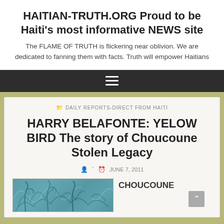HAITIAN-TRUTH.ORG Proud to be Haiti's most informative NEWS site
The FLAME OF TRUTH is flickering near oblivion. We are dedicated to fanning them with facts. Truth will empower Haitians
[Figure (other): Dark navigation bar with hamburger menu icon (three horizontal white lines)]
DAILY REPORTS-DIRECT FROM HAITI
HARRY BELAFONTE: YELOW BIRD The story of Choucoune Stolen Legacy
JUNE 7, 2011
[Figure (illustration): Teal/blue decorative illustration with plant or floral motifs]
CHOUCOUNE